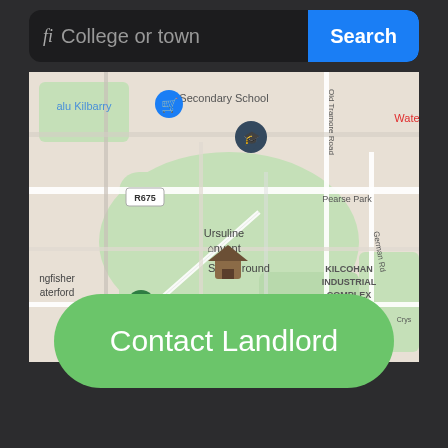[Figure (screenshot): Search bar with 'College or town' placeholder text and blue 'Search' button on dark background]
[Figure (map): Google Maps screenshot showing area around Kilcohan Industrial Complex, Ursuline Convent Sports Ground, Kilcohan Park Greyhound Stadium, near Waterford, Ireland. Shows R675 road, Ashley Ave, Pearse Park, German Rd, Old Tramore Rd labels. Various map pins visible.]
[Figure (screenshot): Green rounded button labeled 'Contact Landlord' on dark background]